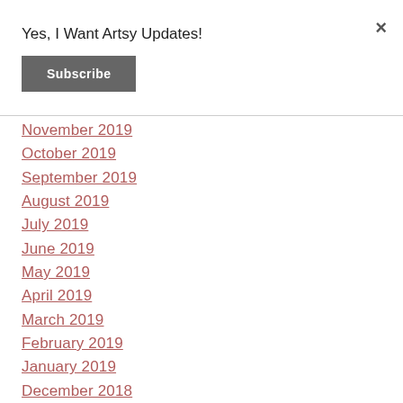Yes, I Want Artsy Updates!
Subscribe
November 2019
October 2019
September 2019
August 2019
July 2019
June 2019
May 2019
April 2019
March 2019
February 2019
January 2019
December 2018
November 2018
October 2018